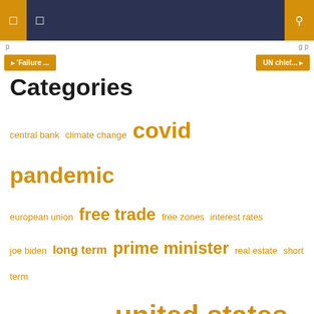Navigation bar with menu icons and search
← 'Failure ...    UN chief... →
Categories
central bank  climate change  covid pandemic  european union  free trade  free zones  interest rates  joe biden  long term  prime minister  real estate  short term  supply chain  trade wars  united states
Domestic Bonds